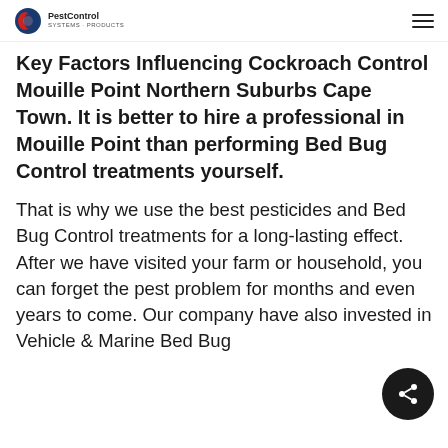PestControl
Key Factors Influencing Cockroach Control Mouille Point Northern Suburbs Cape Town. It is better to hire a professional in Mouille Point than performing Bed Bug Control treatments yourself.
That is why we use the best pesticides and Bed Bug Control treatments for a long-lasting effect. After we have visited your farm or household, you can forget the pest problem for months and even years to come. Our company have also invested in Vehicle & Marine Bed Bug